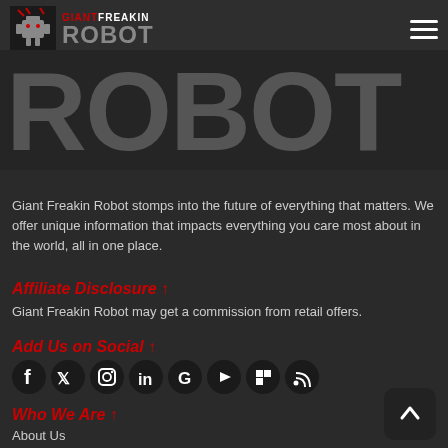Giant Freakin Robot
ROBOT
Giant Freakin Robot stomps into the future of everything that matters. We offer unique information that impacts everything you care most about in the world, all in one place.
Affiliate Disclosure ↑
Giant Freakin Robot may get a commission from retail offers.
Add Us on Social ↑
[Figure (other): Social media icons: Facebook, Twitter, Instagram, LinkedIn, Google, YouTube, Flipboard, RSS]
Who We Are ↑
About Us